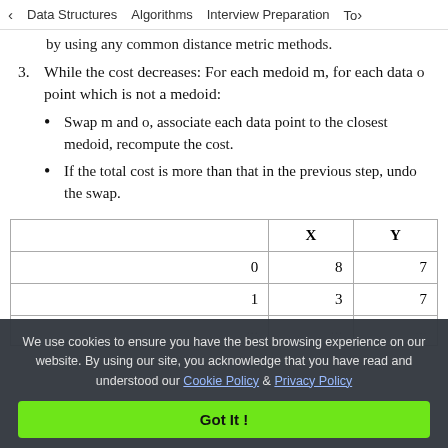< Data Structures   Algorithms   Interview Preparation   To>
by using any common distance metric methods.
3. While the cost decreases: For each medoid m, for each data o point which is not a medoid:
Swap m and o, associate each data point to the closest medoid, recompute the cost.
If the total cost is more than that in the previous step, undo the swap.
|  | X | Y |
| --- | --- | --- |
| 0 | 8 | 7 |
| 1 | 3 | 7 |
We use cookies to ensure you have the best browsing experience on our website. By using our site, you acknowledge that you have read and understood our Cookie Policy & Privacy Policy
Got It !